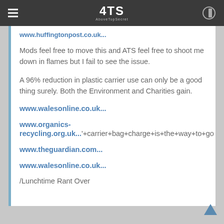4TS AboveTopSecret
www.huffingtonpost.co.uk...
Mods feel free to move this and ATS feel free to shoot me down in flames but I fail to see the issue.
A 96% reduction in plastic carrier use can only be a good thing surely. Both the Environment and Charities gain.
www.walesonline.co.uk...
www.organics-recycling.org.uk...'+carrier+bag+charge+is+the+way+to+go
www.theguardian.com...
www.walesonline.co.uk...
/Lunchtime Rant Over